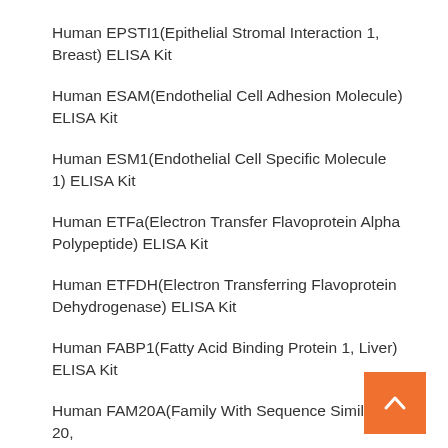Human EPSTI1(Epithelial Stromal Interaction 1, Breast) ELISA Kit
Human ESAM(Endothelial Cell Adhesion Molecule) ELISA Kit
Human ESM1(Endothelial Cell Specific Molecule 1) ELISA Kit
Human ETFa(Electron Transfer Flavoprotein Alpha Polypeptide) ELISA Kit
Human ETFDH(Electron Transferring Flavoprotein Dehydrogenase) ELISA Kit
Human FABP1(Fatty Acid Binding Protein 1, Liver) ELISA Kit
Human FAM20A(Family With Sequence Similarity 20,